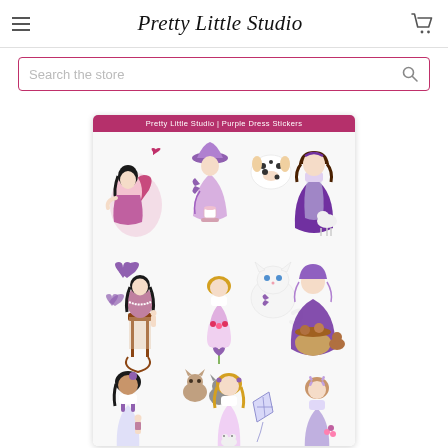Pretty Little Studio
Search the store
[Figure (illustration): A sticker sheet product page from Pretty Little Studio showing 'Purple Dress Stickers' — multiple vintage-style illustrated girl stickers in purple/lavender dresses with accessories including hearts, animals, and flowers arranged on a white sheet with a purple header bar reading 'Pretty Little Studio | Purple Dress Stickers'.]